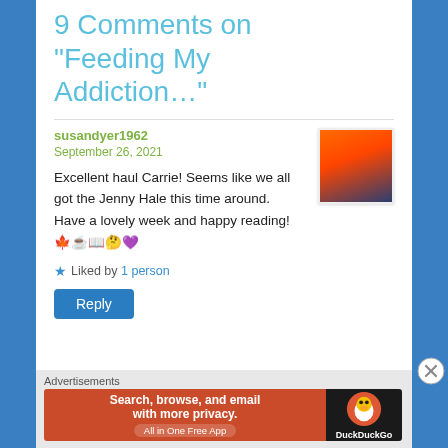9 Comments on “Feeding My Addiction…”
susandyer1962
September 26, 2021
Excellent haul Carrie! Seems like we all got the Jenny Hale this time around. Have a lovely week and happy reading!♥️☕️📖🤔💜
Liked by 1 person
Reply
Advertisements
[Figure (screenshot): DuckDuckGo advertisement banner: Search, browse, and email with more privacy. All in One Free App]